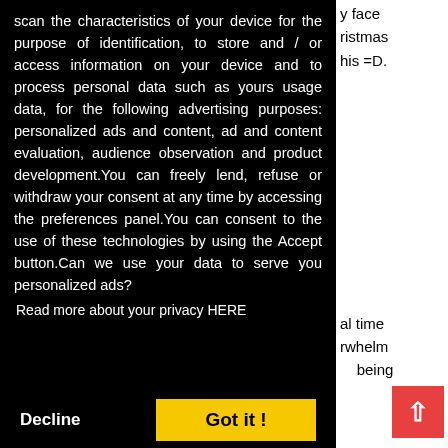scan the characteristics of your device for the purpose of identification, to store and / or access information on your device and to process personal data such as yours usage data, for the following advertising purposes: personalized ads and content, ad and content evaluation, audience observation and product development.You can freely lend, refuse or withdraw your consent at any time by accessing the preferences panel.You can consent to the use of these technologies by using the Accept button.Can we use your data to serve you personalized ads?
Read more about your privacy HERE
Decline
Got it !
y face ristmas his =D.
al time rwhelm being
ntal but o good ith the o l